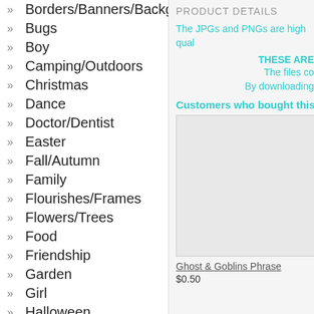» Borders/Banners/Backgrounds
» Bugs
» Boy
» Camping/Outdoors
» Christmas
» Dance
» Doctor/Dentist
» Easter
» Fall/Autumn
» Family
» Flourishes/Frames
» Flowers/Trees
» Food
» Friendship
» Garden
» Girl
» Halloween
» Kids
» Music
» New Year's
» Performance
» Phrases/Quotes
PRODUCT DETAILS
The JPGs and PNGs are high qual
THESE ARE
The files co
By downloading
Customers who bought this als
[Figure (other): Product thumbnail image box (empty/gray)]
Ghost & Goblins Phrase
$0.50